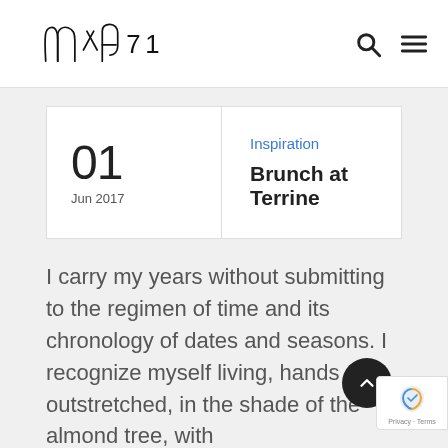Nine71 — logo with search and menu icons
01
Jun 2017
Inspiration
Brunch at Terrine
I carry my years without submitting to the regimen of time and its chronology of dates and seasons. I recognize myself living, hands outstretched, in the shade of the almond tree, with